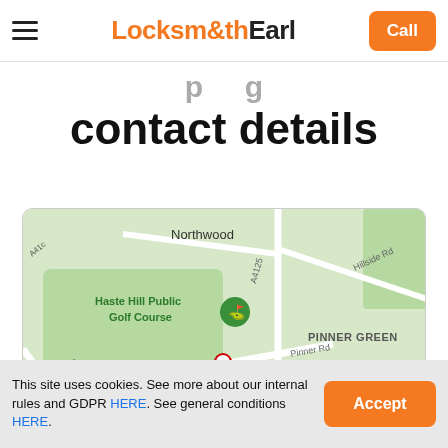Locksmith Earl | Call
contact details
[Figure (map): Google Maps view showing Northwood, Pinner Green, Haste Hill Public Golf Course, Ruislip Woods, Pinner Memorial Park area in London. Roads include A404, A4125, A4180, Pinner Rd, Hillside Rd, Joel St. A location pin is visible near the bottom left.]
This site uses cookies. See more about our internal rules and GDPR HERE. See general conditions HERE.